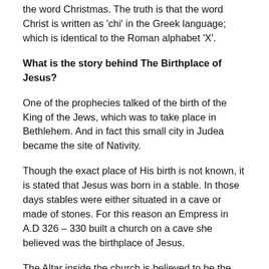the word Christmas. The truth is that the word Christ is written as 'chi' in the Greek language; which is identical to the Roman alphabet 'X'.
What is the story behind The Birthplace of Jesus?
One of the prophecies talked of the birth of the King of the Jews, which was to take place in Bethlehem. And in fact this small city in Judea became the site of Nativity.
Though the exact place of His birth is not known, it is stated that Jesus was born in a stable. In those days stables were either situated in a cave or made of stones. For this reason an Empress in A.D 326 – 330 built a church on a cave she believed was the birthplace of Jesus.
The Altar inside the church is believed to be the holiest place in the Holy land: and said to mark the exact birthplace of Jesus.
What is the total number of turkeys consumed at Christmas every year?